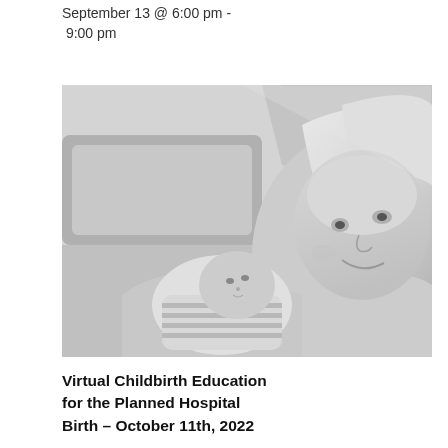September 13 @ 6:00 pm - 9:00 pm
[Figure (photo): Black and white photo of a smiling woman holding a newborn baby swaddled in a striped outfit]
Virtual Childbirth Education for the Planned Hospital Birth – October 11th, 2022